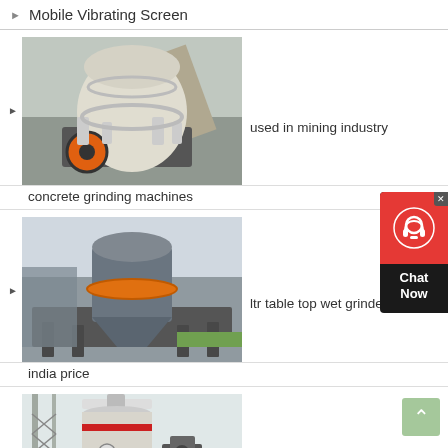Mobile Vibrating Screen
[Figure (photo): Industrial cone crusher machine (white and orange) in a factory/warehouse setting]
used in mining industry
concrete grinding machines
[Figure (photo): Industrial VSI crusher or sand making machine (grey with orange ring) on a frame in a factory]
ltr table top wet grinders in
india price
[Figure (photo): Large industrial vertical mill or grinding mill tower with red bands, in an outdoor industrial setting]
mill in large scale